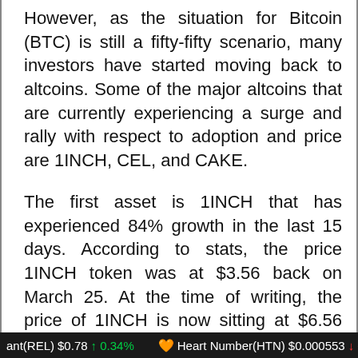However, as the situation for Bitcoin (BTC) is still a fifty-fifty scenario, many investors have started moving back to altcoins. Some of the major altcoins that are currently experiencing a surge and rally with respect to adoption and price are 1INCH, CEL, and CAKE.
The first asset is 1INCH that has experienced 84% growth in the last 15 days. According to stats, the price 1INCH token was at $3.56 back on March 25. At the time of writing, the price of 1INCH is now sitting at $6.56 per token.
The firm has also revealed that in terms of trading volume, it is currently observing a trading volume of $30
ant(REL) $0.78 ↑ 0.34%   🧡 Heart Number(HTN) $0.000553 ↓ -30.47%